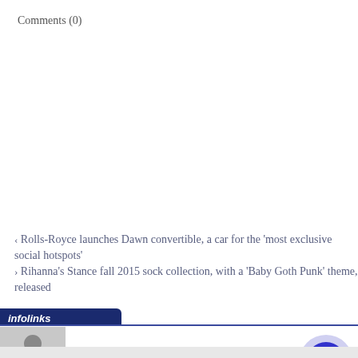Comments (0)
‹ Rolls-Royce launches Dawn convertible, a car for the 'most exclusive social hotspots'
› Rihanna's Stance fall 2015 sock collection, with a 'Baby Goth Punk' theme, released
[Figure (screenshot): Infolinks advertisement banner for foodandfitnessSTL Weight Loss showing a person holding a water bottle, with link to lifechargerfitness.com and a blue arrow button]